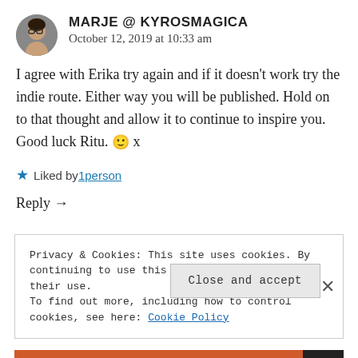[Figure (photo): Circular avatar photo of a woman with glasses]
MARJE @ KYROSMAGICA
October 12, 2019 at 10:33 am
I agree with Erika try again and if it doesn't work try the indie route. Either way you will be published. Hold on to that thought and allow it to continue to inspire you. Good luck Ritu. 🙂 x
★ Liked by 1 person
Reply →
Privacy & Cookies: This site uses cookies. By continuing to use this website, you agree to their use.
To find out more, including how to control cookies, see here: Cookie Policy
Close and accept